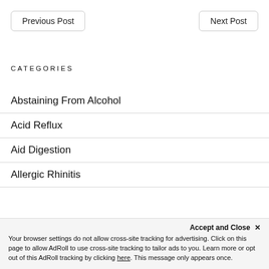Previous Post
Next Post
CATEGORIES
Abstaining From Alcohol
Acid Reflux
Aid Digestion
Allergic Rhinitis
Accept and Close ✕
Your browser settings do not allow cross-site tracking for advertising. Click on this page to allow AdRoll to use cross-site tracking to tailor ads to you. Learn more or opt out of this AdRoll tracking by clicking here. This message only appears once.